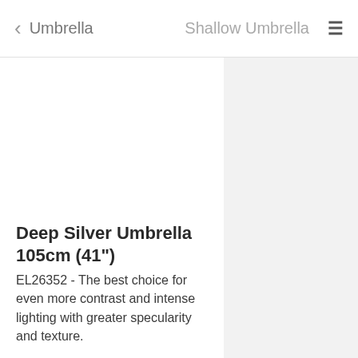< Umbrella   Shallow Umbrella   ≡
[Figure (photo): Product image area - white left panel and light gray right panel, image of deep silver umbrella (not visible/blank)]
Deep Silver Umbrella 105cm (41")
EL26352 - The best choice for even more contrast and intense lighting with greater specularity and texture.